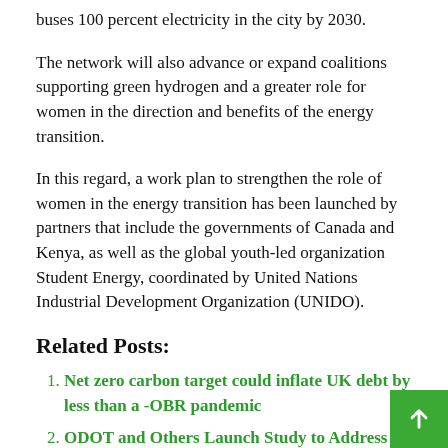buses 100 percent electricity in the city by 2030.
The network will also advance or expand coalitions supporting green hydrogen and a greater role for women in the direction and benefits of the energy transition.
In this regard, a work plan to strengthen the role of women in the energy transition has been launched by partners that include the governments of Canada and Kenya, as well as the global youth-led organization Student Energy, coordinated by United Nations Industrial Development Organization (UNIDO).
Related Posts:
Net zero carbon target could inflate UK debt by less than a -OBR pandemic
ODOT and Others Launch Study to Address Delaware County Highway 23 Congestion
Here's what you can get besides books
Delhi Metro launches India's first UPI-based cashle